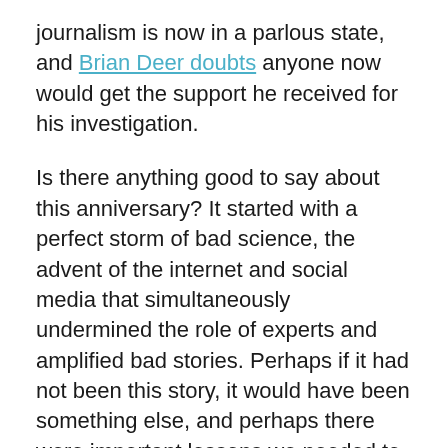journalism is now in a parlous state, and Brian Deer doubts anyone now would get the support he received for his investigation.
Is there anything good to say about this anniversary? It started with a perfect storm of bad science, the advent of the internet and social media that simultaneously undermined the role of experts and amplified bad stories. Perhaps if it had not been this story, it would have been something else, and perhaps there were important lessons we needed to learn. So what have we learned?
Firstly, we have a clearer idea of what “balance” means in relation to reporting on science. In the early days of this issue, the typical scenario included a